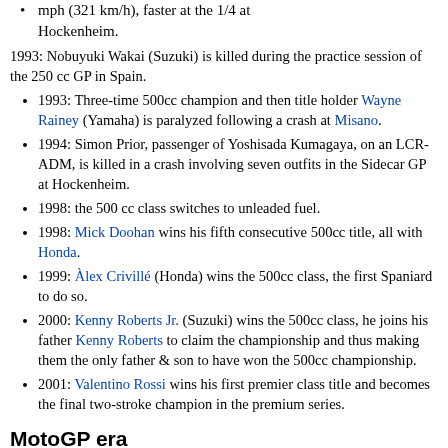…mph (321 km/h), faster at the German 1/4 at Hockenheim.
1993: Nobuyuki Wakai (Suzuki) is killed during the practice session of the 250 cc GP in Spain.
1993: Three-time 500cc champion and then title holder Wayne Rainey (Yamaha) is paralyzed following a crash at Misano.
1994: Simon Prior, passenger of Yoshisada Kumagaya, on an LCR-ADM, is killed in a crash involving seven outfits in the Sidecar GP at Hockenheim.
1998: the 500 cc class switches to unleaded fuel.
1998: Mick Doohan wins his fifth consecutive 500cc title, all with Honda.
1999: Àlex Crivillé (Honda) wins the 500cc class, the first Spaniard to do so.
2000: Kenny Roberts Jr. (Suzuki) wins the 500cc class, he joins his father Kenny Roberts to claim the championship and thus making them the only father & son to have won the 500cc championship.
2001: Valentino Rossi wins his first premier class title and becomes the final two-stroke champion in the premium series.
MotoGP era